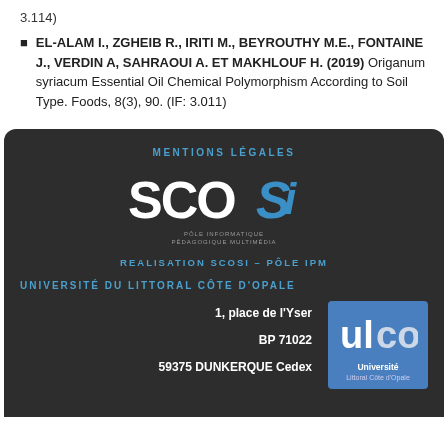3.114)
EL-ALAM I., ZGHEIB R., IRITI M., BEYROUTHY M.E., FONTAINE J., VERDIN A, SAHRAOUI A. ET MAKHLOUF H. (2019) Origanum syriacum Essential Oil Chemical Polymorphism According to Soil Type. Foods, 8(3), 90. (IF: 3.011)
MENTIONS LÉGALES
[Figure (logo): SCOSI logo with text PÔLE INFORMATIQUE PÉDAGOGIQUE MULTIMÉDIA]
REALISATION SCOSI – PÔLE IPM
UNIVERSITÉ DU LITTORAL CÔTE D'OPALE
1, place de l'Yser
BP 71022
59375 DUNKERQUE Cedex
[Figure (logo): ULCO Université Littoral Côte d'Opale logo on blue background]